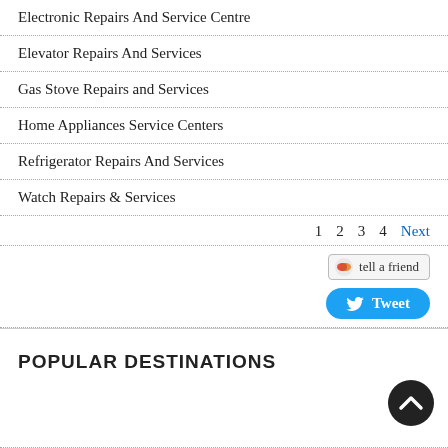Electronic Repairs And Service Centre
Elevator Repairs And Services
Gas Stove Repairs and Services
Home Appliances Service Centers
Refrigerator Repairs And Services
Watch Repairs & Services
1  2  3  4  Next
[Figure (infographic): Tell a friend button with icon and Tweet button with Twitter bird logo]
POPULAR DESTINATIONS
[Figure (illustration): Back to top circular button with upward chevron arrow, dark background]